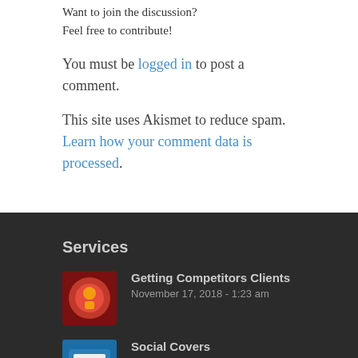Want to join the discussion? Feel free to contribute!
You must be logged in to post a comment.
This site uses Akismet to reduce spam. Learn how your comment data is processed.
Services
Getting Competitors Clients
November 17, 2018 - 1:23 am
Social Covers
May 2, 2017 - 3:31 pm
SMS Text Marketing
April 29, 2017 - 8:50 pm